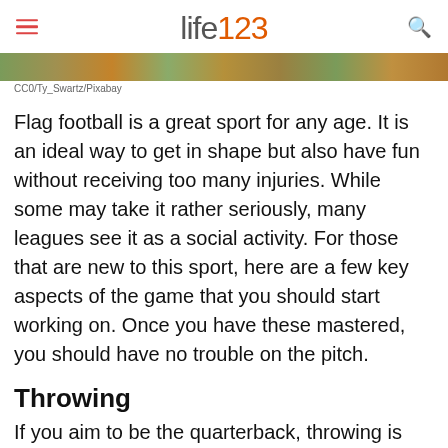life123
[Figure (photo): Partial view of a flag football game image strip]
CC0/Ty_Swartz/Pixabay
Flag football is a great sport for any age. It is an ideal way to get in shape but also have fun without receiving too many injuries. While some may take it rather seriously, many leagues see it as a social activity. For those that are new to this sport, here are a few key aspects of the game that you should start working on. Once you have these mastered, you should have no trouble on the pitch.
Throwing
If you aim to be the quarterback, throwing is key. This